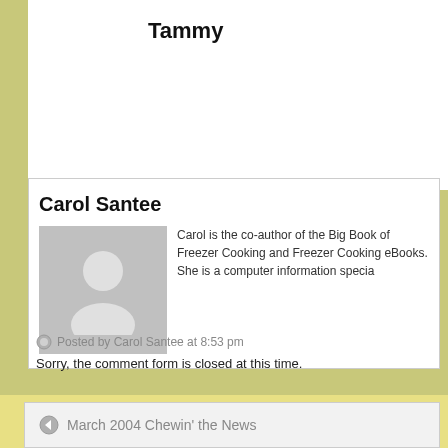Tammy
Carol Santee
Carol is the co-author of the Big Book of Freezer Cooking and Freezer Cooking eBooks. She is a computer information specia...
Posted by Carol Santee at 8:53 pm
Sorry, the comment form is closed at this time.
March 2004 Chewin' the News
© 2019 30 Day Gourmet, Inc. • Privacy Policy • Terms of Use